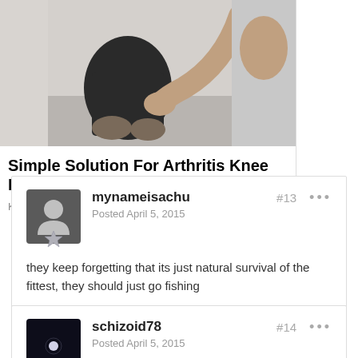[Figure (photo): Advertisement showing a knee pain treatment — a person sitting with knee being examined, partially cropped on right side showing another person with long hair]
Simple Solution For Arthritis Knee Pain (See How).
Knee Pain
Psoriasis Bio... Targeted Ther... Out
Psoriasis | Search A
mynameisachu
Posted April 5, 2015
#13
they keep forgetting that its just natural survival of the fittest, they should just go fishing
schizoid78
Posted April 5, 2015
#14